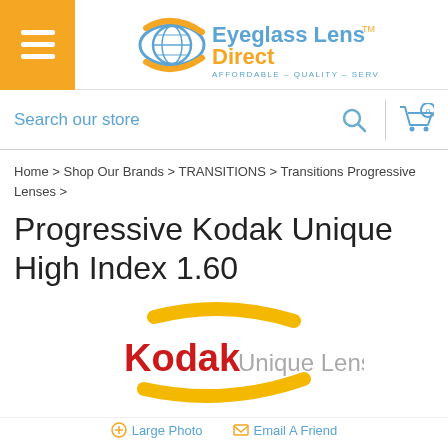Eyeglass Lens Direct — AFFORDABLE – QUALITY – SERVICE
Search our store
Home > Shop Our Brands > TRANSITIONS > Transitions Progressive Lenses >
Progressive Kodak Unique High Index 1.60
[Figure (logo): Kodak Unique Lens logo with a yellow swoosh arc above and below the text. 'Kodak' in bold red, 'Unique Lens' in grey.]